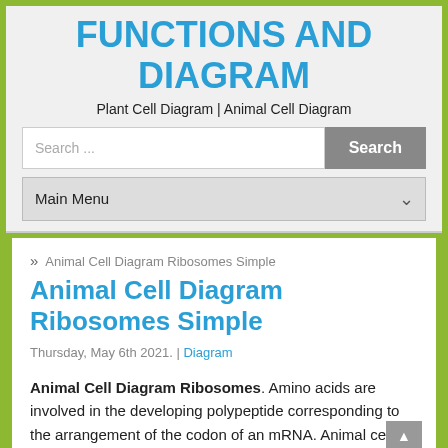FUNCTIONS AND DIAGRAM
Plant Cell Diagram | Animal Cell Diagram
[Figure (screenshot): Search bar with text 'Search ...' and a grey Search button]
[Figure (screenshot): Dropdown menu labeled 'Main Menu' with chevron icon]
» Animal Cell Diagram Ribosomes Simple
Animal Cell Diagram Ribosomes Simple
Thursday, May 6th 2021. | Diagram
Animal Cell Diagram Ribosomes. Amino acids are involved in the developing polypeptide corresponding to the arrangement of the codon of an mRNA. Animal cells have a basic structure.